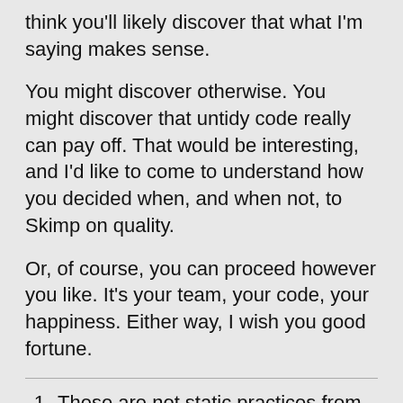think you'll likely discover that what I'm saying makes sense.
You might discover otherwise. You might discover that untidy code really can pay off. That would be interesting, and I'd like to come to understand how you decided when, and when not, to Skimp on quality.
Or, of course, you can proceed however you like. It's your team, your code, your happiness. Either way, I wish you good fortune.
These are not static practices from the end of the last century: they have evolved as we learned ways to do them